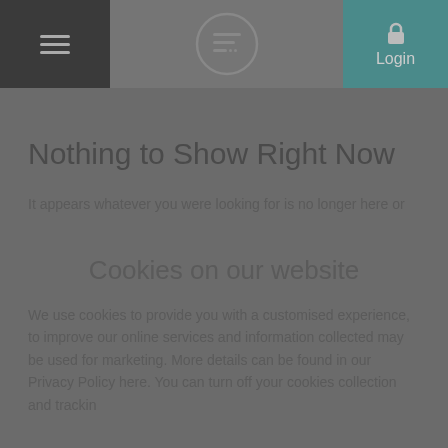[Figure (screenshot): Navigation bar with hamburger menu icon on the left, a circular list/filter icon in the center, and a lock/Login button on the right teal background]
Nothing to Show Right Now
It appears whatever you were looking for is no longer here or
Cookies on our website
We use cookies to provide you with a customised experience, to improve our online services and information collected may be used for marketing. More details can be found in our Privacy Policy here. You can turn off your cookies collection and tracking